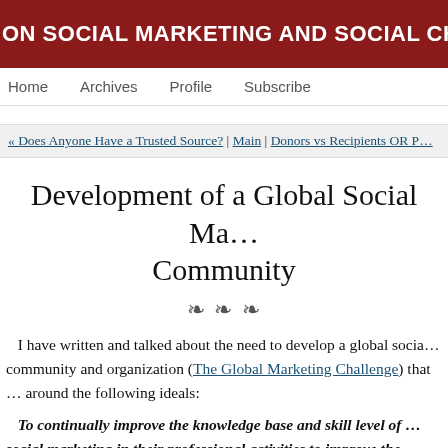ON SOCIAL MARKETING AND SOCIAL CHANGE | News a…
Home   Archives   Profile   Subscribe
« Does Anyone Have a Trusted Source? | Main | Donors vs Recipients OR P…
Development of a Global Social Ma… Community
I have written and talked about the need to develop a global socia… community and organization (The Global Marketing Challenge) that … around the following ideals:
To continually improve the knowledge base and skill level of … social marketing in their professional activities to improve the … conditions of people around the world.